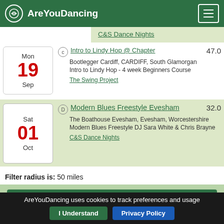AreYouDancing
C&S Dance Nights
Mon 19 Sep
Intro to Lindy Hop @ Chapter
Bootlegger Cardiff, CARDIFF, South Glamorgan
Intro to Lindy Hop - 4 week Beginners Course
The Swing Project
47.0
Sat 01 Oct
Modern Blues Freestyle Evesham
The Boathouse Evesham, Evesham, Worcestershire
Modern Blues Freestyle DJ Sara White & Chris Brayne
C&S Dance Nights
32.0
Filter radius is: 50 miles
Support AreYouDancing
AreYouDancing uses cookies to track preferences and usage
I Understand
Privacy Policy